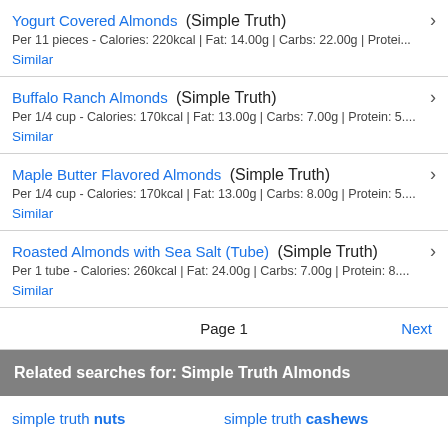Yogurt Covered Almonds (Simple Truth)
Per 11 pieces - Calories: 220kcal | Fat: 14.00g | Carbs: 22.00g | Protei...
Similar
Buffalo Ranch Almonds (Simple Truth)
Per 1/4 cup - Calories: 170kcal | Fat: 13.00g | Carbs: 7.00g | Protein: 5....
Similar
Maple Butter Flavored Almonds (Simple Truth)
Per 1/4 cup - Calories: 170kcal | Fat: 13.00g | Carbs: 8.00g | Protein: 5....
Similar
Roasted Almonds with Sea Salt (Tube) (Simple Truth)
Per 1 tube - Calories: 260kcal | Fat: 24.00g | Carbs: 7.00g | Protein: 8....
Similar
Page 1   Next
Related searches for: Simple Truth Almonds
simple truth nuts   simple truth cashews